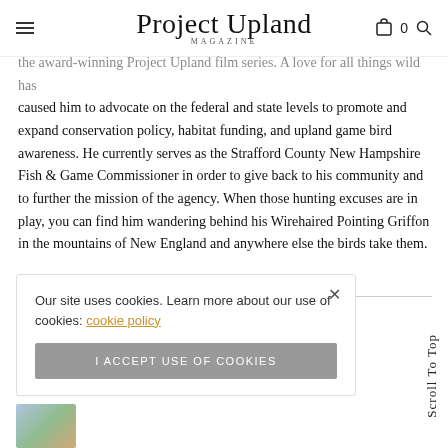Project Upland Magazine
the award-winning Project Upland film series. A love for all things wild has caused him to advocate on the federal and state levels to promote and expand conservation policy, habitat funding, and upland game bird awareness. He currently serves as the Strafford County New Hampshire Fish & Game Commissioner in order to give back to his community and to further the mission of the agency. When those hunting excuses are in play, you can find him wandering behind his Wirehaired Pointing Griffon in the mountains of New England and anywhere else the birds take them.
Our site uses cookies. Learn more about our use of cookies: cookie policy
I ACCEPT USE OF COOKIES
Scroll To Top